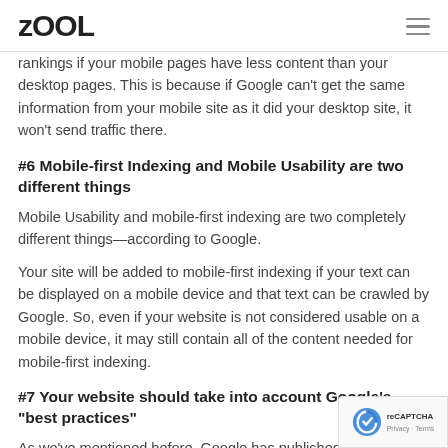ZOOL
rankings if your mobile pages have less content than your desktop pages. This is because if Google can't get the same information from your mobile site as it did your desktop site, it won't send traffic there.
#6 Mobile-first Indexing and Mobile Usability are two different things
Mobile Usability and mobile-first indexing are two completely different things—according to Google.
Your site will be added to mobile-first indexing if your text can be displayed on a mobile device and that text can be crawled by Google. So, even if your website is not considered usable on a mobile device, it may still contain all of the content needed for mobile-first indexing.
#7 Your website should take into account Google's "best practices"
As we've mentioned before, Google has published a best practices for mobile-first indexing and you should